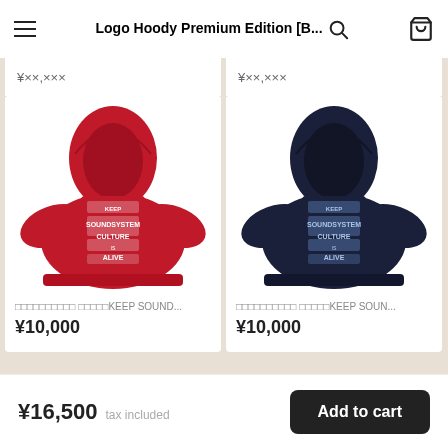Logo Hoody Premium Edition [B...
¥××,×××
¥××,×××
[Figure (photo): Red hoodie sweatshirt viewed from the back, with white graphic text print reading KEEP SOUNDSYSTEM CULTURE ALIVE on the back panel]
□□□□□□□□□□ □□□□□KEEP SOUND...
¥10,000
[Figure (photo): Navy/dark blue hoodie sweatshirt viewed from the back, with white/blue graphic text print reading KEEP SOUNDSYSTEM CULTURE ALIVE on the back panel]
□□□□□□□□□□ □□□□□KEEP SOUN...
¥10,000
□□□□□□□
¥16,500  tax included
Add to cart